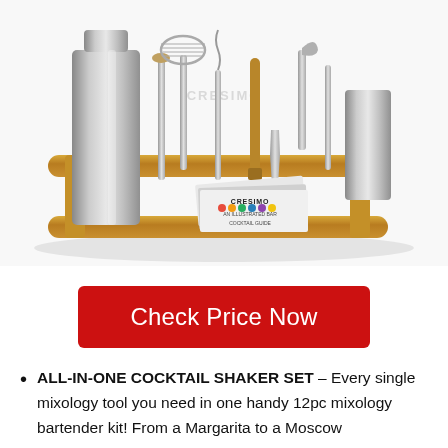[Figure (photo): A cocktail shaker bartender kit set with a bamboo wooden stand, stainless steel shaker, bar tools (strainer, jigger, bar spoon, corkscrew, muddler), and cocktail recipe booklets on a white background. Cresimo brand watermark visible.]
Check Price Now
ALL-IN-ONE COCKTAIL SHAKER SET – Every single mixology tool you need in one handy 12pc mixology bartender kit! From a Margarita to a Moscow